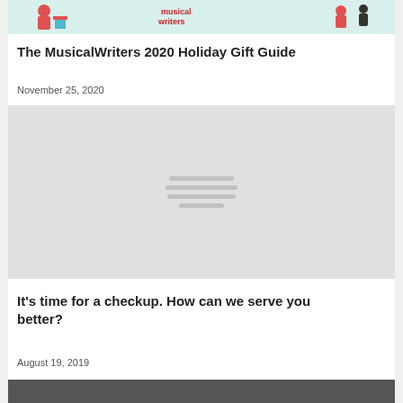[Figure (illustration): MusicalWriters website banner with illustrated holiday characters and 'musical writers' logo text in red]
The MusicalWriters 2020 Holiday Gift Guide
November 25, 2020
[Figure (illustration): Gray placeholder image with three horizontal lines indicating a loading or broken image]
It's time for a checkup. How can we serve you better?
August 19, 2019
[Figure (photo): Partial dark image at bottom of page]